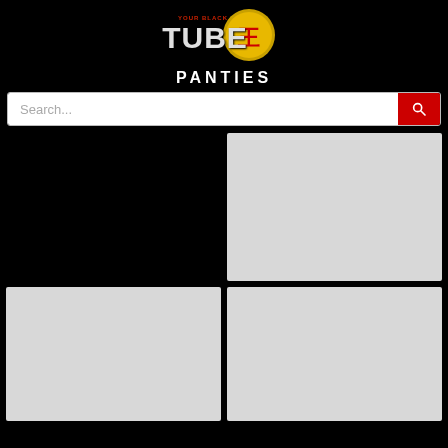[Figure (logo): Your Black Tube logo with red and gold emblem and stylized text]
PANTIES
Search...
[Figure (photo): Top-left video thumbnail placeholder (black)]
[Figure (photo): Top-right video thumbnail placeholder (light gray)]
[Figure (photo): Bottom-left video thumbnail placeholder (light gray)]
[Figure (photo): Bottom-right video thumbnail placeholder (light gray)]